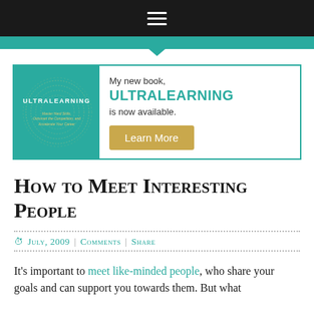Navigation bar with hamburger menu
[Figure (infographic): Book advertisement banner for 'ULTRALEARNING' — shows book cover on teal background with dots pattern on left, and on the right: 'My new book, ULTRALEARNING is now available.' with a gold 'Learn More' button.]
How to Meet Interesting People
July, 2009 | Comments | Share
It's important to meet like-minded people, who share your goals and can support you towards them. But what